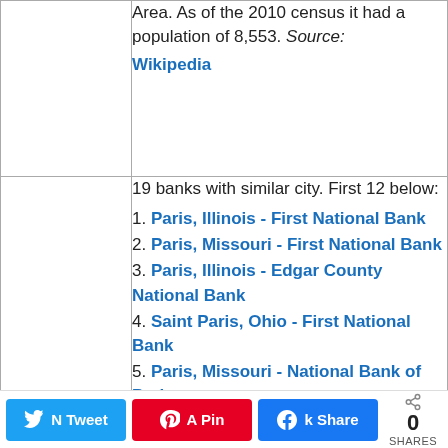Area. As of the 2010 census it had a population of 8,553. Source: Wikipedia
19 banks with similar city. First 12 below:
1. Paris, Illinois - First National Bank
2. Paris, Missouri - First National Bank
3. Paris, Illinois - Edgar County National Bank
4. Saint Paris, Ohio - First National Bank
5. Paris, Missouri - National Bank of Paris